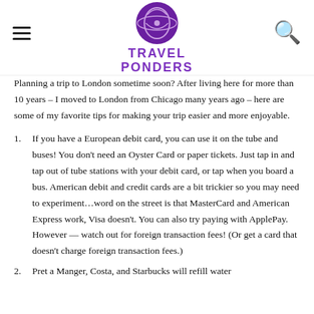Travel Ponders
Planning a trip to London sometime soon? After living here for more than 10 years – I moved to London from Chicago many years ago – here are some of my favorite tips for making your trip easier and more enjoyable.
If you have a European debit card, you can use it on the tube and buses! You don't need an Oyster Card or paper tickets. Just tap in and tap out of tube stations with your debit card, or tap when you board a bus. American debit and credit cards are a bit trickier so you may need to experiment…word on the street is that MasterCard and American Express work, Visa doesn't. You can also try paying with ApplePay. However — watch out for foreign transaction fees! (Or get a card that doesn't charge foreign transaction fees.)
Pret a Manger, Costa, and Starbucks will refill water